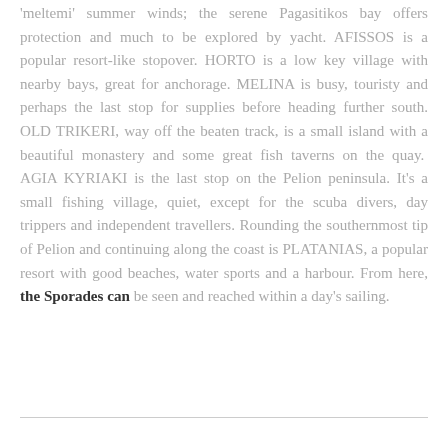'meltemi' summer winds; the serene Pagasitikos bay offers protection and much to be explored by yacht. AFISSOS is a popular resort-like stopover. HORTO is a low key village with nearby bays, great for anchorage. MELINA is busy, touristy and perhaps the last stop for supplies before heading further south. OLD TRIKERI, way off the beaten track, is a small island with a beautiful monastery and some great fish taverns on the quay.  AGIA KYRIAKI is the last stop on the Pelion peninsula. It's a small fishing village, quiet, except for the scuba divers, day trippers and independent travellers. Rounding the southernmost tip of Pelion and continuing along the coast is PLATANIAS, a popular resort with good beaches, water sports and a harbour. From here, the Sporades can be seen and reached within a day's sailing.